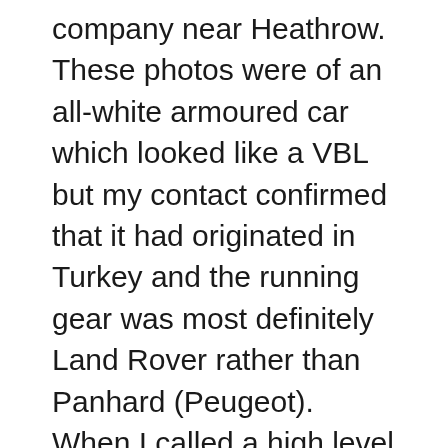company near Heathrow. These photos were of an all-white armoured car which looked like a VBL but my contact confirmed that it had originated in Turkey and the running gear was most definitely Land Rover rather than Panhard (Peugeot). When I called a high level Government & Military Operations contact at Land Rover's Solihull HQ he requested I keep the photos under wraps due to the secrecy of the project but later the G&MO team confirmed that the APC had been airfreighted to the UK to ensure that it both met Land Rover operational specifications and could pass tests (e.g. tilt angle, mobility, and suspension travel) to allow NATO classification. In the photos there was a large dustbin-like object on the roof and it was only when I later picked up early Otokar product brochures that I realised this was just a test weight to replicate gun turret and gunner during the tilt tests.